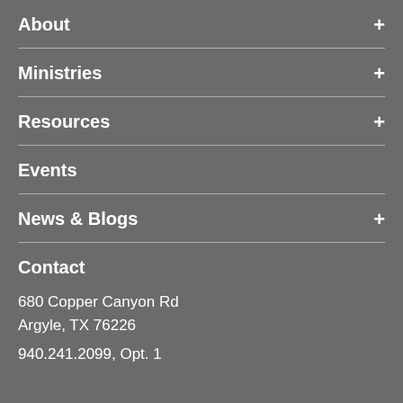About +
Ministries +
Resources +
Events
News & Blogs +
Contact
680 Copper Canyon Rd
Argyle, TX 76226
940.241.2099, Opt. 1